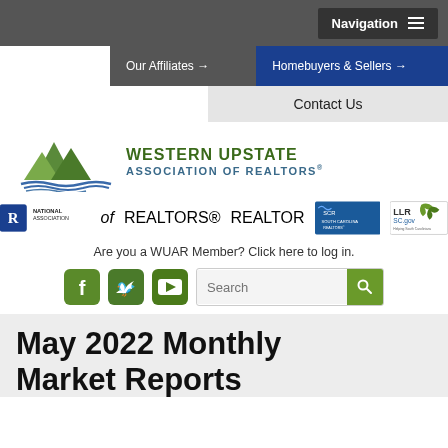Navigation
Our Affiliates →
Homebuyers & Sellers →
Contact Us
[Figure (logo): Western Upstate Association of Realtors logo with green mountain peaks and blue wave lines]
[Figure (logo): National Association of Realtors logo, SCR South Carolina Realtors logo, and LLR SC.gov logo]
Are you a WUAR Member? Click here to log in.
[Figure (infographic): Social media icons for Facebook, Twitter, and YouTube (green square icons) and a search bar]
May 2022 Monthly Market Reports